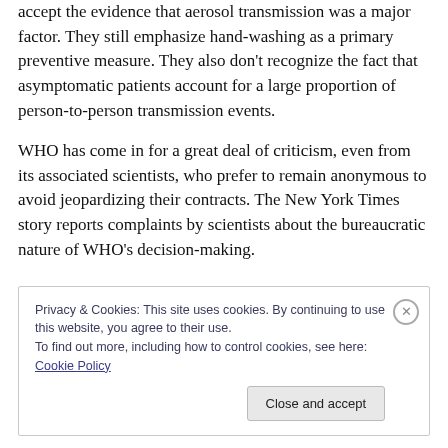accept the evidence that aerosol transmission was a major factor. They still emphasize hand-washing as a primary preventive measure. They also don't recognize the fact that asymptomatic patients account for a large proportion of person-to-person transmission events.
WHO has come in for a great deal of criticism, even from its associated scientists, who prefer to remain anonymous to avoid jeopardizing their contracts. The New York Times story reports complaints by scientists about the bureaucratic nature of WHO's decision-making.
Privacy & Cookies: This site uses cookies. By continuing to use this website, you agree to their use. To find out more, including how to control cookies, see here: Cookie Policy